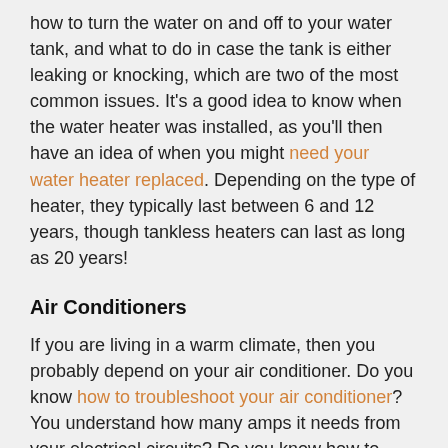how to turn the water on and off to your water tank, and what to do in case the tank is either leaking or knocking, which are two of the most common issues. It's a good idea to know when the water heater was installed, as you'll then have an idea of when you might need your water heater replaced. Depending on the type of heater, they typically last between 6 and 12 years, though tankless heaters can last as long as 20 years!
Air Conditioners
If you are living in a warm climate, then you probably depend on your air conditioner. Do you know how to troubleshoot your air conditioner? You understand how many amps it needs from your electrical circuits? Do you know how to clean it? Do you know what mold smells like once it starts getting pushed around by your air conditioning system? Do you know how to carry out basic AC Repair? Learn about vents! Find out how to reset fuses. If you have portable units, be sure you understand how to install and uninstall them safely! Knowing a little bit can save you a lot of money if you don't want to call repair people